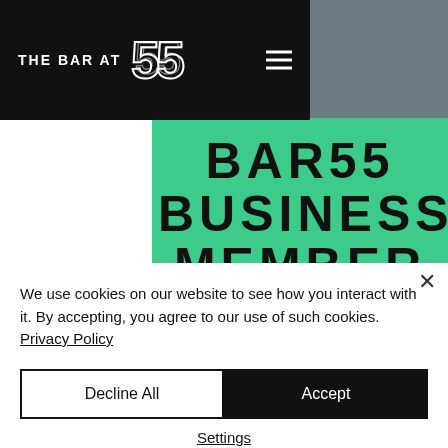THE BAR AT 55
BAR55 BUSINESS MEMBER
APPLY
Apply online
Access our business zone:
We use cookies on our website to see how you interact with it. By accepting, you agree to our use of such cookies. Privacy Policy
Decline All
Accept
Settings